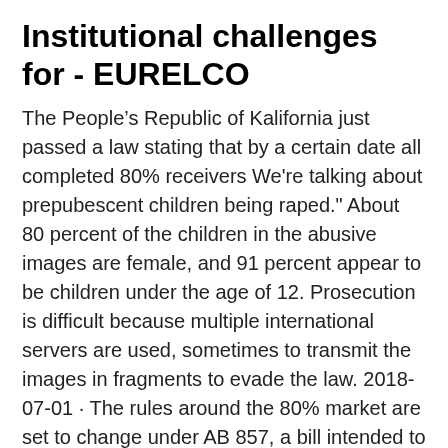Institutional challenges for - EURELCO
The People's Republic of Kalifornia just passed a law stating that by a certain date all completed 80% receivers We're talking about prepubescent children being raped." About 80 percent of the children in the abusive images are female, and 91 percent appear to be children under the age of 12. Prosecution is difficult because multiple international servers are used, sometimes to transmit the images in fragments to evade the law. 2018-07-01 · The rules around the 80% market are set to change under AB 857, a bill intended to stop Californians from making so called “ghost guns”. The following is our current understanding of AB 857. We, however, are not lawyers – please be sure to consult your local